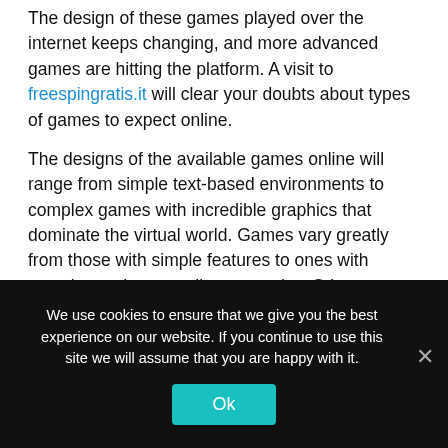The design of these games played over the internet keeps changing, and more advanced games are hitting the platform. A visit to freespingratis.it will clear your doubts about types of games to expect online.
The designs of the available games online will range from simple text-based environments to complex games with incredible graphics that dominate the virtual world. Games vary greatly from those with simple features to ones with complex and outstanding gameplay. Other features will include standout graphics that are imperative for the success of the games played
We use cookies to ensure that we give you the best experience on our website. If you continue to use this site we will assume that you are happy with it.